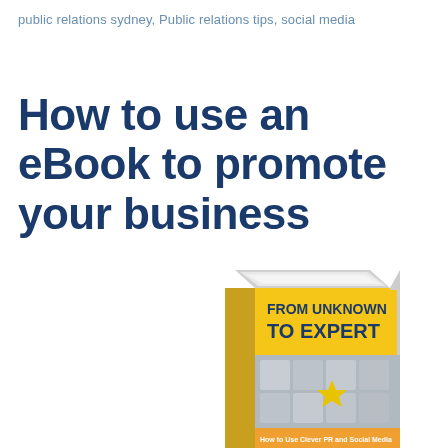public relations sydney, Public relations tips, social media
How to use an eBook to promote your business
[Figure (illustration): Book cover illustration showing 'FROM UNKNOWN TO EXPERT - How to Use Clever PR and Social Media' book with yellow cover and puzzle pieces imagery with a gold star]